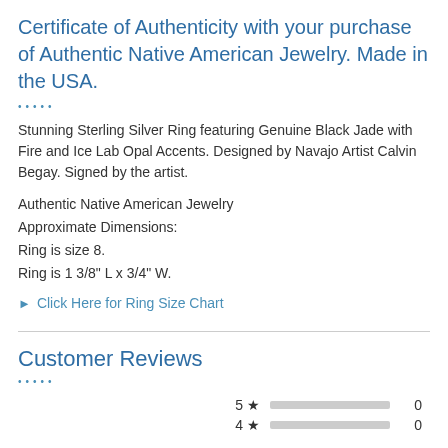Certificate of Authenticity with your purchase of Authentic Native American Jewelry. Made in the USA.
•••••
Stunning Sterling Silver Ring featuring Genuine Black Jade with Fire and Ice Lab Opal Accents. Designed by Navajo Artist Calvin Begay. Signed by the artist.
Authentic Native American Jewelry
Approximate Dimensions:
Ring is size 8.
Ring is 1 3/8" L x 3/4" W.
▶ Click Here for Ring Size Chart
Customer Reviews
•••••
| Stars | Bar | Count |
| --- | --- | --- |
| 5 ★ |  | 0 |
| 4 ★ |  | 0 |